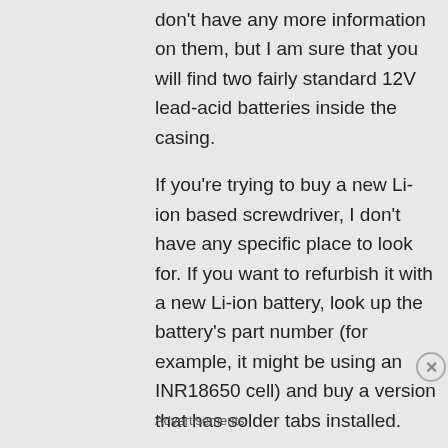don't have any more information on them, but I am sure that you will find two fairly standard 12V lead-acid batteries inside the casing.
If you're trying to buy a new Li-ion based screwdriver, I don't have any specific place to look for. If you want to refurbish it with a new Li-ion battery, look up the battery's part number (for example, it might be using an INR18650 cell) and buy a version that has solder tabs installed.
★ Like
Advertisements
[Figure (photo): Victoria's Secret advertisement banner with model photo, VS logo, 'SHOP THE COLLECTION' text, and 'SHOP NOW' button]